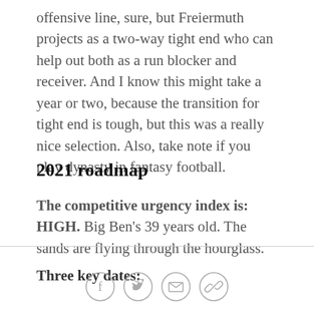offensive line, sure, but Freiermuth projects as a two-way tight end who can help out both as a run blocker and receiver. And I know this might take a year or two, because the transition for tight end is tough, but this was a really nice selection. Also, take note if you play dynasty in fantasy football.
2021 roadmap
The competitive urgency index is: HIGH. Big Ben's 39 years old. The sands are flying through the hourglass.
Three key dates:
[social share icons: Facebook, Twitter, Email, Link]